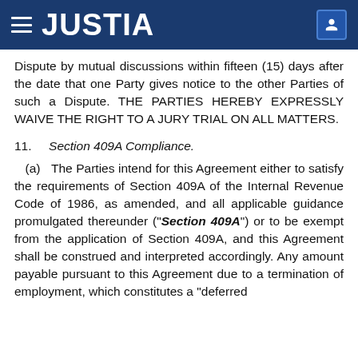JUSTIA
Dispute by mutual discussions within fifteen (15) days after the date that one Party gives notice to the other Parties of such a Dispute. THE PARTIES HEREBY EXPRESSLY WAIVE THE RIGHT TO A JURY TRIAL ON ALL MATTERS.
11.    Section 409A Compliance.
(a)    The Parties intend for this Agreement either to satisfy the requirements of Section 409A of the Internal Revenue Code of 1986, as amended, and all applicable guidance promulgated thereunder (“Section 409A”) or to be exempt from the application of Section 409A, and this Agreement shall be construed and interpreted accordingly. Any amount payable pursuant to this Agreement due to a termination of employment, which constitutes a “deferred